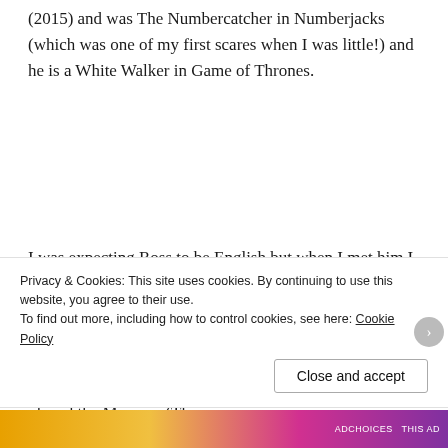(2015) and was The Numbercatcher in Numberjacks (which was one of my first scares when I was little!) and he is a White Walker in Game of Thrones.
I was expecting Ross to be English but when I met him I found out that he was Canadian – and kind too! I asked him my Golden Questions – plus one more. I asked him for his favourite Series 8 episode and he said that apart from his own episode, Mummy on the Orient Express (2014) was his favourite one. One of Ross's friends played the Mummy (The [obscured by cookie banner]
Privacy & Cookies: This site uses cookies. By continuing to use this website, you agree to their use.
To find out more, including how to control cookies, see here: Cookie Policy
Close and accept